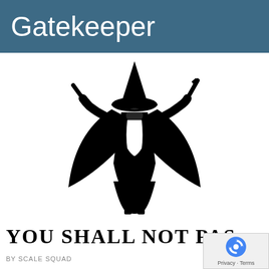Gatekeeper
[Figure (illustration): Black silhouette illustration of a wizard figure (resembling Gandalf) with arms outstretched, holding a sword in one hand and a staff in the other, wearing a pointed hat and a flowing cloak, with a white beard visible. Standing pose, facing forward.]
YOU SHALL NOT PAS
BY SCALE SQUAD